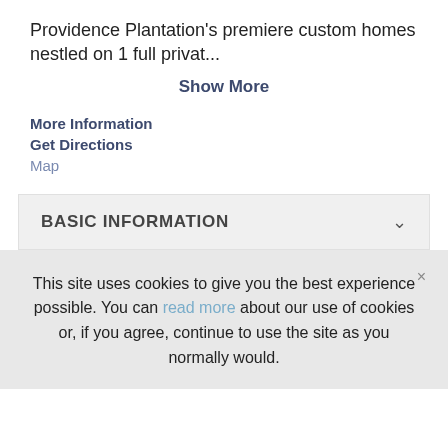Providence Plantation's premiere custom homes nestled on 1 full privat...
Show More
More Information
Get Directions
Map
BASIC INFORMATION
This site uses cookies to give you the best experience possible. You can read more about our use of cookies or, if you agree, continue to use the site as you normally would.